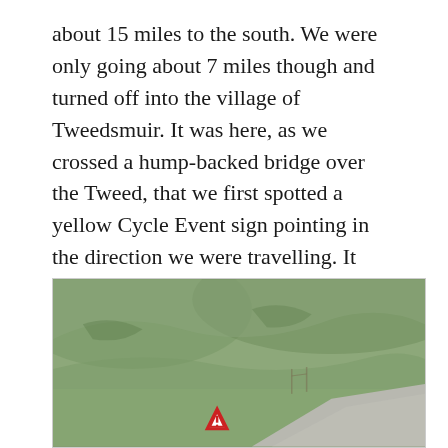about 15 miles to the south. We were only going about 7 miles though and turned off into the village of Tweedsmuir. It was here, as we crossed a hump-backed bridge over the Tweed, that we first spotted a yellow Cycle Event sign pointing in the direction we were travelling. It wasn't the Tour o the Borders but perhaps we'd accidentally found ourselves in some other cycling sportive – who knew?! We hadn't seen any other cyclists though so perhaps we were even in the lead!
[Figure (photo): Photograph showing a hilly green landscape with a road and a warning/yield road sign visible at the bottom center-right area of the image.]